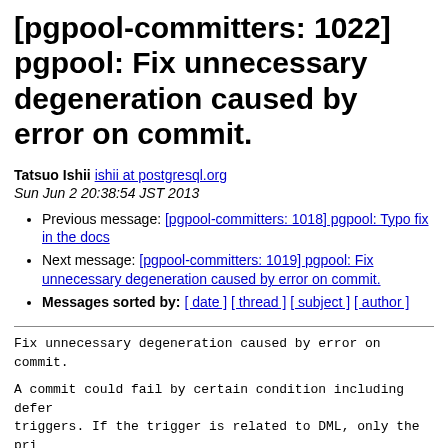[pgpool-committers: 1022] pgpool: Fix unnecessary degeneration caused by error on commit.
Tatsuo Ishii ishii at postgresql.org
Sun Jun 2 20:38:54 JST 2013
Previous message: [pgpool-committers: 1018] pgpool: Typo fix in the docs
Next message: [pgpool-committers: 1019] pgpool: Fix unnecessary degeneration caused by error on commit.
Messages sorted by: [ date ] [ thread ] [ subject ] [ author ]
Fix unnecessary degeneration caused by error on commit.

A commit could fail by certain condition including deferred triggers. If the trigger is related to DML, only the primary because standbys never gets executed such DML in streaming mode. This lead to "kind mismatch error", which causes fa session close. This is reported in bug #60 and the repo